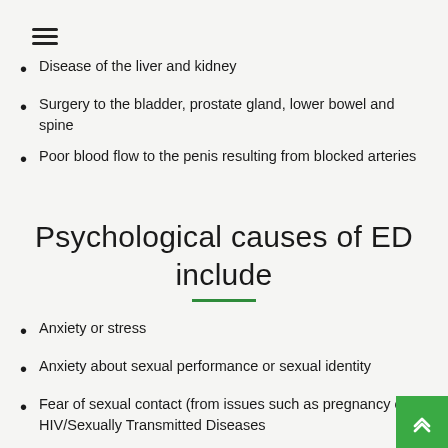Disease of the liver and kidney
Surgery to the bladder, prostate gland, lower bowel and spine
Poor blood flow to the penis resulting from blocked arteries
Psychological causes of ED include
Anxiety or stress
Anxiety about sexual performance or sexual identity
Fear of sexual contact (from issues such as pregnancy or HIV/Sexually Transmitted Diseases
Psychological trauma or abuse